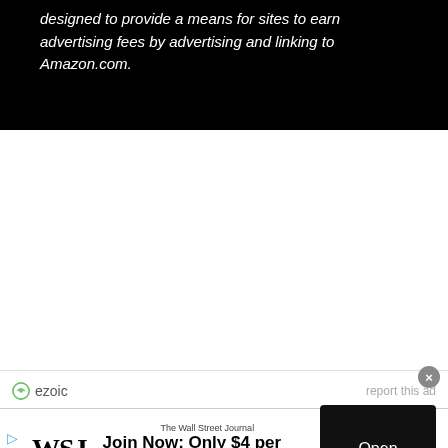designed to provide a means for sites to earn advertising fees by advertising and linking to Amazon.com.
[Figure (other): Ezoic ad placeholder - white empty area with ezoic branding bar at bottom showing logo and 'report this ad' link]
[Figure (other): Wall Street Journal advertisement banner: 'Join Now: Only $4 per month' with Open button]